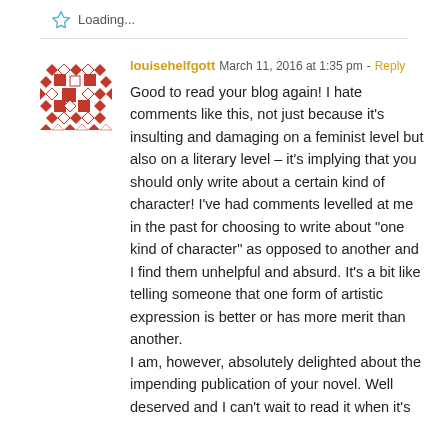Loading...
louisehelfgott  March 11, 2016 at 1:35 pm - Reply
[Figure (illustration): Red decorative geometric avatar icon with diamond and square patterns]
Good to read your blog again! I hate comments like this, not just because it's insulting and damaging on a feminist level but also on a literary level – it's implying that you should only write about a certain kind of character! I've had comments levelled at me in the past for choosing to write about "one kind of character" as opposed to another and I find them unhelpful and absurd. It's a bit like telling someone that one form of artistic expression is better or has more merit than another.
I am, however, absolutely delighted about the impending publication of your novel. Well deserved and I can't wait to read it when it's